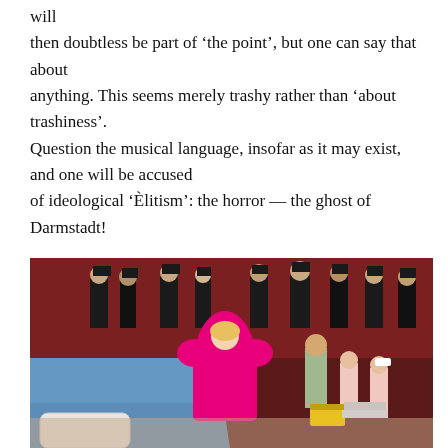will
then doubtless be part of 'the point', but one can say that about
anything. This seems merely trashy rather than 'about trashiness'.
Question the musical language, insofar as it may exist, and one will be accused
of ideological 'Èlitism': the horror — the ghost of Darmstadt!
[Figure (photo): Opera stage performance with performers in various costumes: a woman in a bright pink dress at center stage, several performers dressed in black suits and dark glasses in the background, and performers in pink/light colored outfits on the right side. The set features blue and dark red backgrounds.]